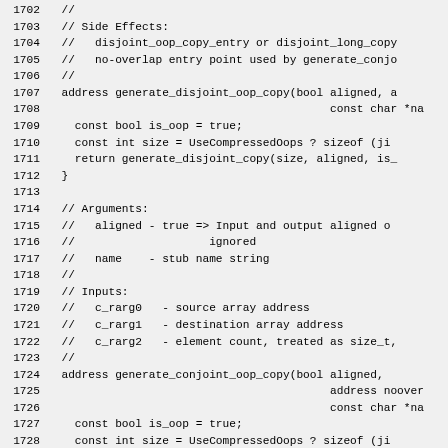Source code listing, lines 1702-1732, showing generate_disjoint_oop_copy and generate_conjoint_oop_copy functions with comments for Side Effects, Arguments, and Inputs.